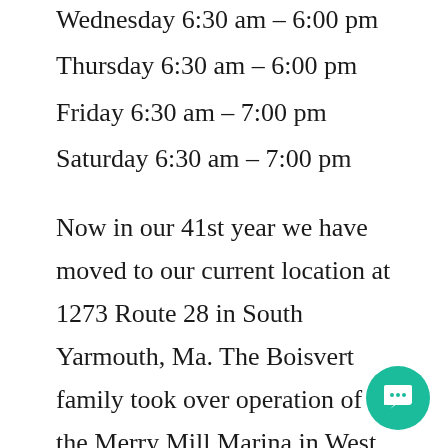Wednesday 6:30 am – 6:00 pm
Thursday 6:30 am – 6:00 pm
Friday 6:30 am – 7:00 pm
Saturday 6:30 am – 7:00 pm
Now in our 41st year we have moved to our current location at 1273 Route 28 in South Yarmouth, Ma. The Boisvert family took over operation of the Merry Mill Marina in West Dennis during the summer of 1972. The business has evolved from boat rentals, slip rentals and christmas cards in the winter to a full service tackle dealer. Specializing in repair services allow in the sale of a sole dealer. Our staff will